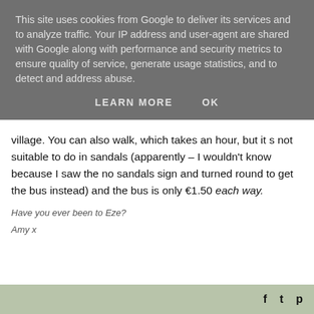This site uses cookies from Google to deliver its services and to analyze traffic. Your IP address and user-agent are shared with Google along with performance and security metrics to ensure quality of service, generate usage statistics, and to detect and address abuse.
LEARN MORE    OK
village. You can also walk, which takes an hour, but it s not suitable to do in sandals (apparently – I wouldn't know because I saw the no sandals sign and turned round to get the bus instead) and the bus is only €1.50 each way.
Have you ever been to Eze?
Amy x
f  ✦  p